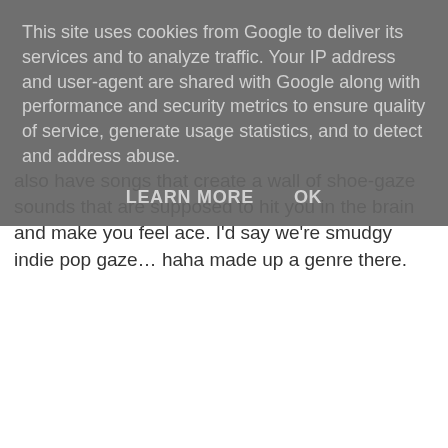also have songs that create a wall of shoe-gaze sounds that are supposed to hit you in the brain and make you feel ace. I'd say we're smudgy indie pop gaze… haha made up a genre there.
This site uses cookies from Google to deliver its services and to analyze traffic. Your IP address and user-agent are shared with Google along with performance and security metrics to ensure quality of service, generate usage statistics, and to detect and address abuse.
LEARN MORE    OK